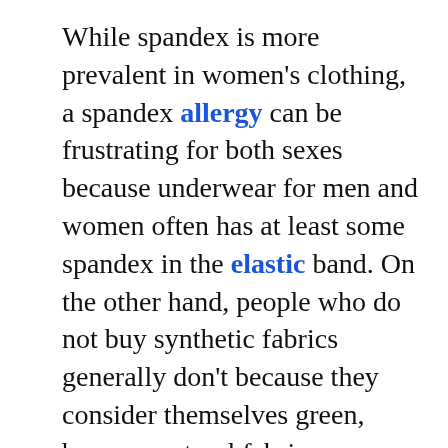While spandex is more prevalent in women's clothing, a spandex allergy can be frustrating for both sexes because underwear for men and women often has at least some spandex in the elastic band. On the other hand, people who do not buy synthetic fabrics generally don't because they consider themselves green, because natural fabrics wear better, or both.